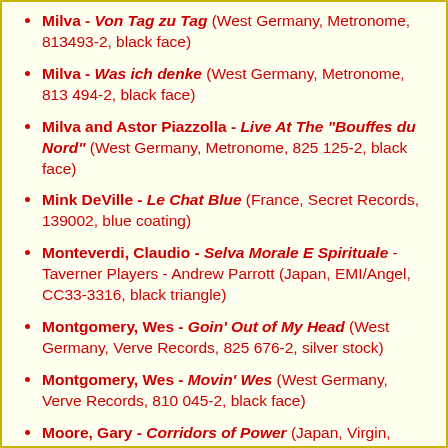Milva - Von Tag zu Tag (West Germany, Metronome, 813493-2, black face)
Milva - Was ich denke (West Germany, Metronome, 813 494-2, black face)
Milva and Astor Piazzolla - Live At The "Bouffes du Nord" (West Germany, Metronome, 825 125-2, black face)
Mink DeVille - Le Chat Blue (France, Secret Records, 139002, blue coating)
Monteverdi, Claudio - Selva Morale E Spirituale - Taverner Players - Andrew Parrott (Japan, EMI/Angel, CC33-3316, black triangle)
Montgomery, Wes - Goin' Out of My Head (West Germany, Verve Records, 825 676-2, silver stock)
Montgomery, Wes - Movin' Wes (West Germany, Verve Records, 810 045-2, black face)
Moore, Gary - Corridors of Power (Japan, Virgin,